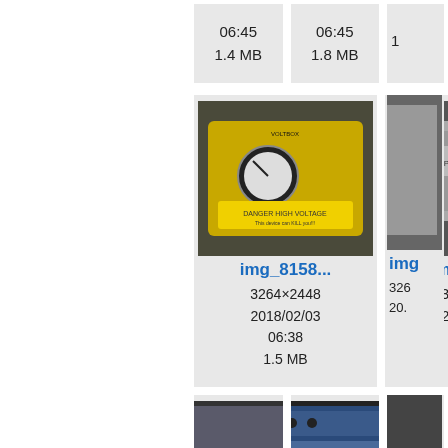| 06:45
1.4 MB | 06:45
1.8 MB | 1... |
| img_8158...
3264×2448
2018/02/03
06:38
1.5 MB | img_8159...
3264×2448
2018/02/03
06:38
1.3 MB | img... |
| img_8161...
3264×2448
2018/02/03
06:38 | img_8163...
3264×2448
2018/02/03
06:38 | img... |